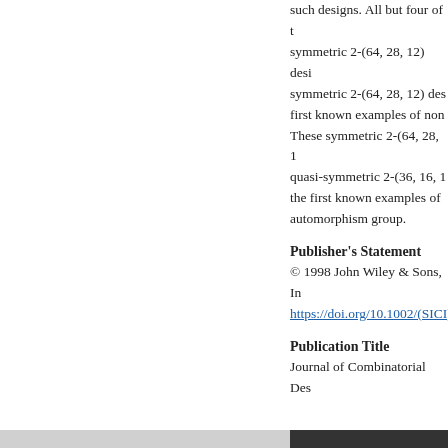such designs. All but four of the symmetric 2-(64, 28, 12) designs are symmetric 2-(64, 28, 12) designs, are the first known examples of non... These symmetric 2-(64, 28, 1... quasi-symmetric 2-(36, 16, 1... the first known examples of ... automorphism group.
Publisher's Statement
© 1998 John Wiley & Sons, In... https://doi.org/10.1002/(SICI)...
Publication Title
Journal of Combinatorial Des...
Recommended Citation
Ding, Y., Houghten, S., Lam, C.... 2-(28, 12, 11) designs with an au... 6(3), 213-223. http://doi.org/10.... Retrieved from: https://digitalo...